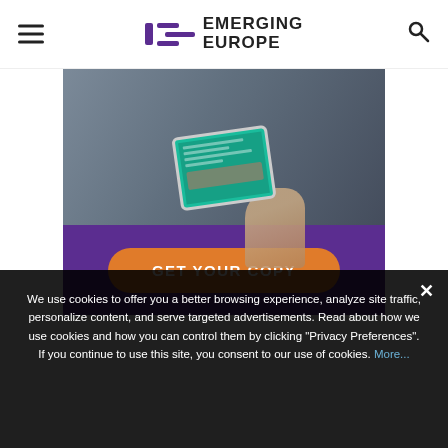Emerging Europe
[Figure (photo): Person holding a tablet device showing colorful content, blurred background]
[Figure (infographic): Purple banner with orange rounded-rectangle button reading GET YOUR COPY]
We use cookies to offer you a better browsing experience, analyze site traffic, personalize content, and serve targeted advertisements. Read about how we use cookies and how you can control them by clicking "Privacy Preferences". If you continue to use this site, you consent to our use of cookies. More...